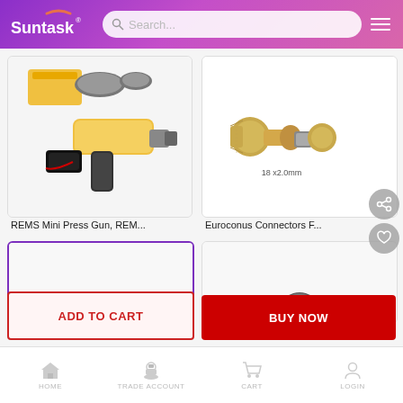Suntask - Search bar and navigation menu
[Figure (screenshot): REMS Mini Press Gun tool product image - yellow and black cordless press tool with accessories]
REMS Mini Press Gun, REM...
[Figure (screenshot): Euroconus Connectors product image - brass pipe fittings 18x2.0mm]
Euroconus Connectors F...
[Figure (screenshot): Partially visible product card with purple border]
[Figure (screenshot): Partially visible product card]
ADD TO CART
BUY NOW
HOME  TRADE ACCOUNT  CART  LOGIN